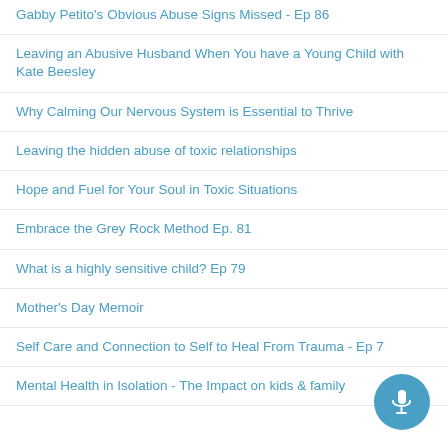Gabby Petito's Obvious Abuse Signs Missed - Ep 86
Leaving an Abusive Husband When You have a Young Child with Kate Beesley
Why Calming Our Nervous System is Essential to Thrive
Leaving the hidden abuse of toxic relationships
Hope and Fuel for Your Soul in Toxic Situations
Embrace the Grey Rock Method Ep. 81
What is a highly sensitive child? Ep 79
Mother's Day Memoir
Self Care and Connection to Self to Heal From Trauma - Ep 7
Mental Health in Isolation - The Impact on kids & family